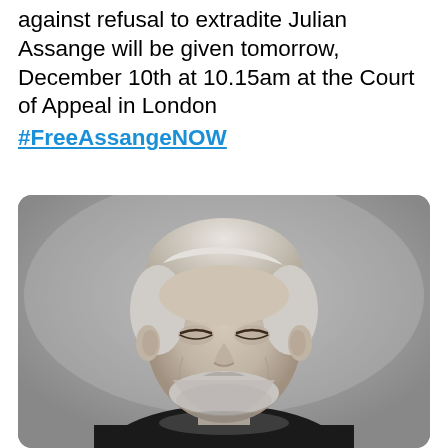against refusal to extradite Julian Assange will be given tomorrow, December 10th at 10.15am at the Court of Appeal in London #FreeAssangeNOW
[Figure (photo): Black and white portrait photograph of Julian Assange smiling, wearing a black shirt, with grey/white hair and beard]